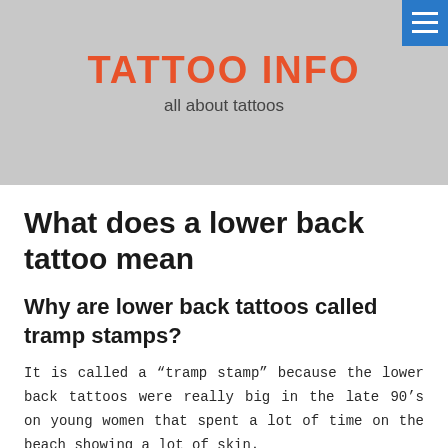TATTOO INFO
all about tattoos
What does a lower back tattoo mean
Why are lower back tattoos called tramp stamps?
It is called a “tramp stamp” because the lower back tattoos were really big in the late 90’s on young women that spent a lot of time on the beach showing a lot of skin.